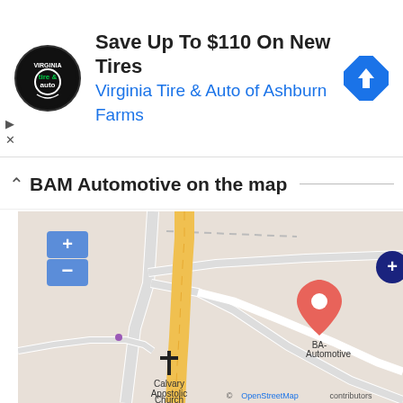[Figure (infographic): Advertisement banner for Virginia Tire & Auto of Ashburn Farms with logo, text 'Save Up To $110 On New Tires', and navigation icon]
BAM Automotive on the map
[Figure (map): OpenStreetMap showing BAM Automotive location with a red pin marker, a nearby Calvary Apostolic Church marker, roads, and zoom controls. Attribution: © OpenStreetMap contributors]